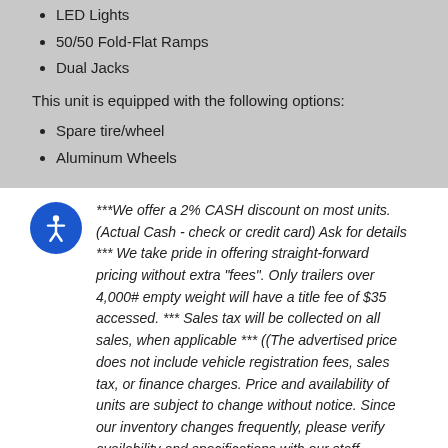LED Lights
50/50 Fold-Flat Ramps
Dual Jacks
This unit is equipped with the following options:
Spare tire/wheel
Aluminum Wheels
*** We offer a 2% CASH discount on most units. (Actual Cash - check or credit card) Ask for details *** We take pride in offering straight-forward pricing without extra "fees". Only trailers over 4,000# empty weight will have a title fee of $35 accessed. *** Sales tax will be collected on all sales, when applicable *** ((The advertised price does not include vehicle registration fees, sales tax, or finance charges. Price and availability of units are subject to change without notice. Since our inventory changes frequently, please verify availability and specifications with our staff. Bennett Trailer Sales Inc., assumes no responsibility for typographical errors.))
Dealer Information